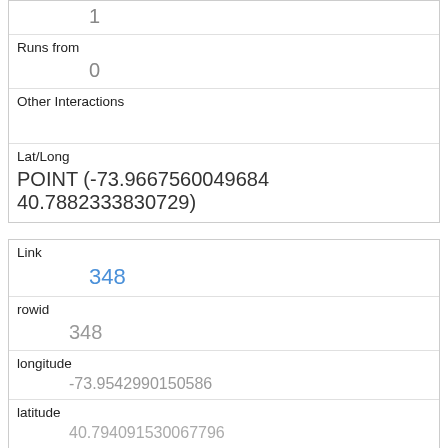|  | 1 |
| Runs from | 0 |
| Other Interactions |  |
| Lat/Long | POINT (-73.9667560049684 40.7882333830729) |
| Link | 348 |
| rowid | 348 |
| longitude | -73.9542990150586 |
| latitude | 40.794091530067796 |
| Unique Squirrel ID | 37G-PM-1007-09 |
| Hectare | 37G |
| Shift |  |